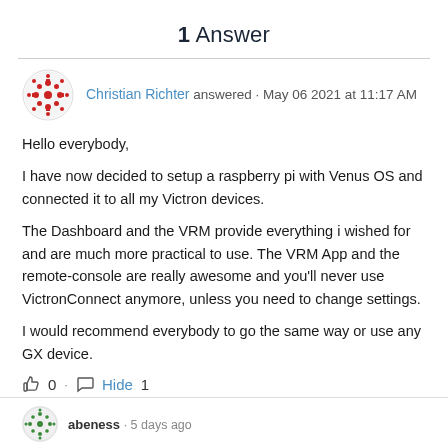1 Answer
Christian Richter answered · May 06 2021 at 11:17 AM
Hello everybody,
I have now decided to setup a raspberry pi with Venus OS and connected it to all my Victron devices.
The Dashboard and the VRM provide everything i wished for and are much more practical to use. The VRM App and the remote-console are really awesome and you'll never use VictronConnect anymore, unless you need to change settings.
I would recommend everybody to go the same way or use any GX device.
0 · Hide 1
abeness · 5 days ago